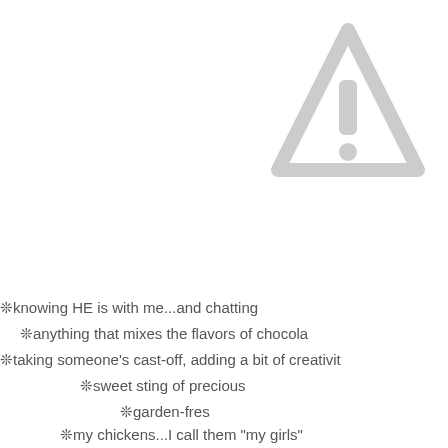[Figure (illustration): A gray warning triangle icon with an exclamation mark, partially cropped at top-right corner of page]
❊knowing HE is with me...and chatting
❊anything that mixes the flavors of chocola
❊taking someone's cast-off, adding a bit of creativit
❊sweet sting of precious
❊garden-fres
❊my chickens...I call them "my girls"